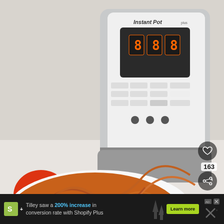[Figure (photo): Photo of a bowl of pasta (fideos/noodles) with tomatoes, olives, and red peppers in a tomato sauce, with two tomatoes and an Instant Pot pressure cooker visible in the background on a white surface. Social sharing buttons (heart icon with count 163, share icon) appear on the right side. A 'What's Next' thumbnail box shows Instant Pot Taco Pasta.]
163
WHAT'S NEXT → Instant Pot Taco Pasta...
Tilley saw a 200% increase in conversion rate with Shopify Plus